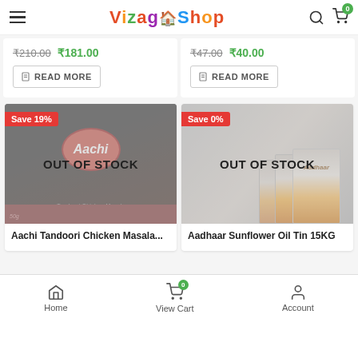VizagShop - hamburger menu, search, cart (0)
₹210.00  ₹181.00
READ MORE
₹47.00  ₹40.00
READ MORE
[Figure (photo): Aachi Tandoori Chicken Masala product box, black packaging with red oval logo. OUT OF STOCK overlay. Save 19% badge.]
Aachi Tandoori Chicken Masala...
[Figure (photo): Aadhaar Sunflower Oil Tin 15KG, multiple silver/orange tins stacked. OUT OF STOCK overlay. Save 0% badge.]
Aadhaar Sunflower Oil Tin 15KG
Home  |  View Cart (0)  |  Account